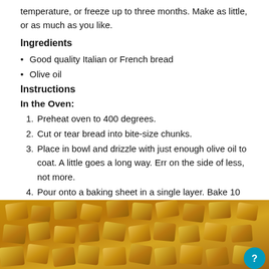temperature, or freeze up to three months. Make as little, or as much as you like.
Ingredients
Good quality Italian or French bread
Olive oil
Instructions
In the Oven:
Preheat oven to 400 degrees.
Cut or tear bread into bite-size chunks.
Place in bowl and drizzle with just enough olive oil to coat. A little goes a long way. Err on the side of less, not more.
Pour onto a baking sheet in a single layer. Bake 10 minutes or until golden brown, stirring once.
[Figure (photo): Golden brown croutons on a baking sheet, viewed close up]